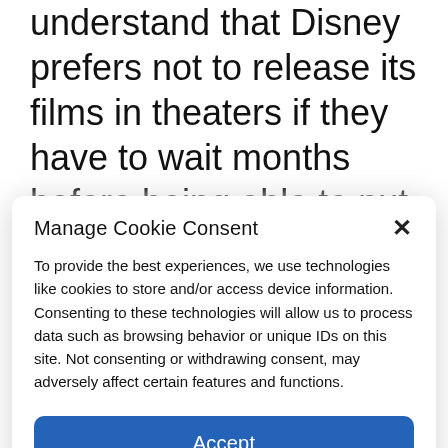understand that Disney prefers not to release its films in theaters if they have to wait months before being able to put them on their platforms. The chronology of the media can only evolve but that does not imply the death of the cinemas. There is room for everyone, but there is no stopping this evolution. You have to accept the
Manage Cookie Consent
To provide the best experiences, we use technologies like cookies to store and/or access device information. Consenting to these technologies will allow us to process data such as browsing behavior or unique IDs on this site. Not consenting or withdrawing consent, may adversely affect certain features and functions.
Accept
Cookie Policy